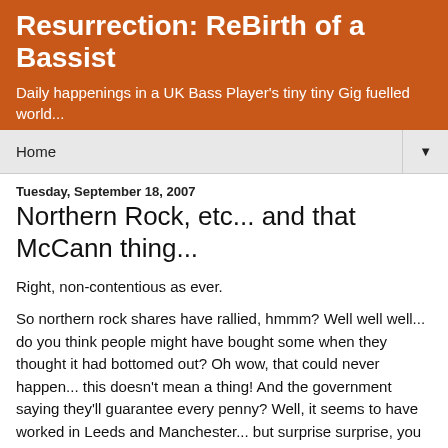Resurrection: ReBirth of a Bassist
Daily happenings in a UK Bass Player's tiny tiny Gig fuelled world...
Home
Tuesday, September 18, 2007
Northern Rock, etc... and that McCann thing...
Right, non-contentious as ever.
So northern rock shares have rallied, hmmm? Well well well... do you think people might have bought some when they thought it had bottomed out? Oh wow, that could never happen... this doesn't mean a thing! And the government saying they'll guarantee every penny? Well, it seems to have worked in Leeds and Manchester... but surprise surprise, you get further south (north london) and they were queueing at